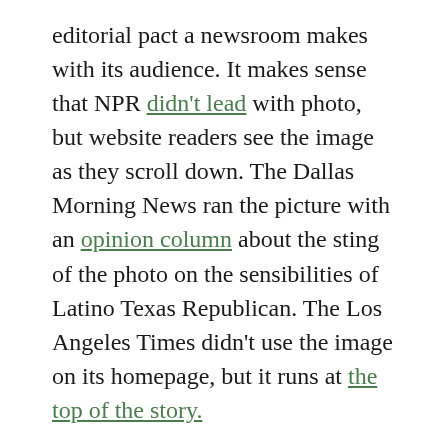editorial pact a newsroom makes with its audience. It makes sense that NPR didn't lead with photo, but website readers see the image as they scroll down. The Dallas Morning News ran the picture with an opinion column about the sting of the photo on the sensibilities of Latino Texas Republican. The Los Angeles Times didn't use the image on its homepage, but it runs at the top of the story.
The AP's initial story and tweet were appropriate for the time and context